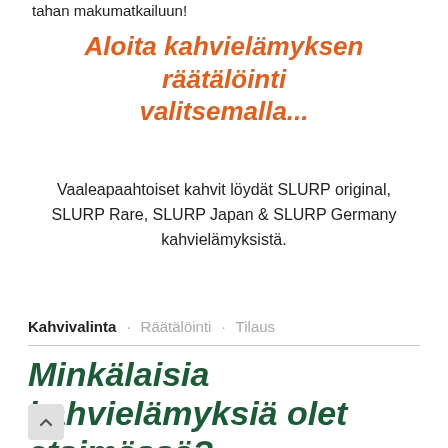tahan makumatkailuun!
Aloita kahvielämyksen räätälöinti valitsemalla...
Vaaleapaahtoiset kahvit löydät SLURP original, SLURP Rare, SLURP Japan & SLURP Germany kahvielämyksistä.
Kahvivalinta · Räätälöinti · Tilaus
Minkälaisia kahvielämyksiä olet etsimässä?